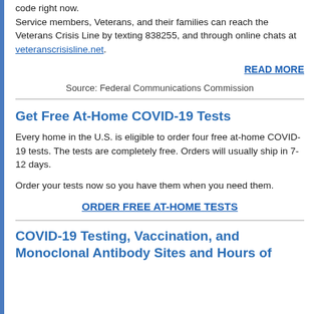code right now.
Service members, Veterans, and their families can reach the Veterans Crisis Line by texting 838255, and through online chats at veteranscrisisline.net.
READ MORE
Source: Federal Communications Commission
Get Free At-Home COVID-19 Tests
Every home in the U.S. is eligible to order four free at-home COVID-19 tests. The tests are completely free. Orders will usually ship in 7-12 days.
Order your tests now so you have them when you need them.
ORDER FREE AT-HOME TESTS
COVID-19 Testing, Vaccination, and Monoclonal Antibody Sites and Hours of